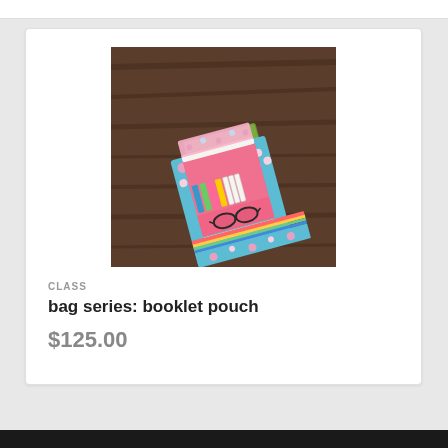[Figure (photo): A colorful booklet pouch organizer open and displayed on a dark wood surface. The pouch is made with pink floral fabric on the outside and bright pink interior. It contains colored pencils/pens in elastic loops, has multiple pockets, and a pair of glasses rests in the lower pocket. A green cover is visible underneath.]
CLASS
bag series: booklet pouch
$125.00